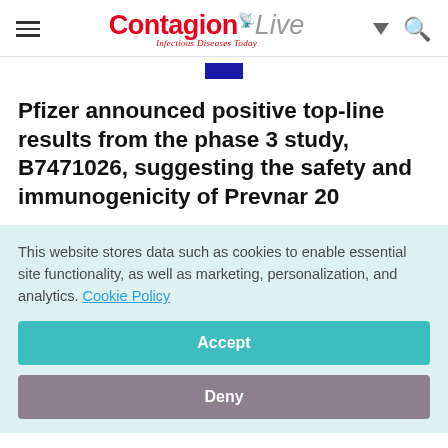ContagionLive — Infectious Diseases Today
[Figure (other): Small blue rectangle partial image element below header]
Pfizer announced positive top-line results from the phase 3 study, B7471026, suggesting the safety and immunogenicity of Prevnar 20
This website stores data such as cookies to enable essential site functionality, as well as marketing, personalization, and analytics. Cookie Policy
Accept
Deny